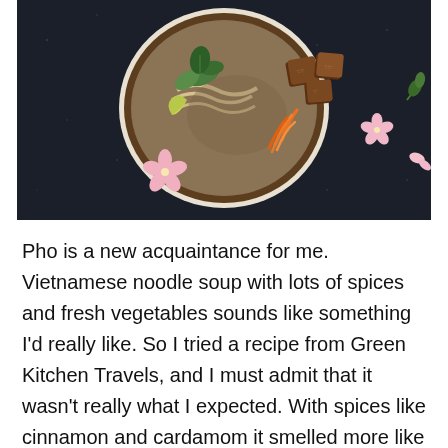[Figure (photo): Overhead photo of a bowl of Vietnamese pho soup with noodles, broth, crispy tofu cubes coated in sesame seeds, shredded carrots, bok choy, fresh herbs, and a lime wedge, set on a dark speckled surface with pink cherry blossoms scattered around the bowl.]
Pho is a new acquaintance for me. Vietnamese noodle soup with lots of spices and fresh vegetables sounds like something I'd really like. So I tried a recipe from Green Kitchen Travels, and I must admit that it wasn't really what I expected. With spices like cinnamon and cardamom it smelled more like a drink […] Read...